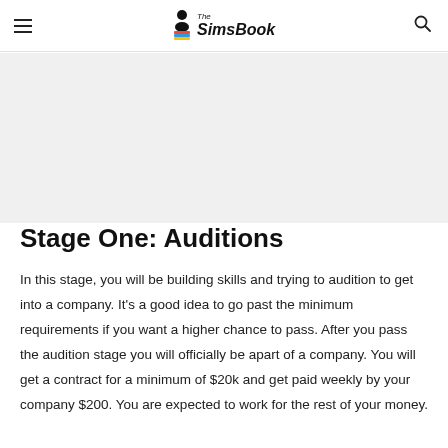The SimsBook
[Figure (other): Advertisement placeholder area with light gray background]
Stage One: Auditions
In this stage, you will be building skills and trying to audition to get into a company. It's a good idea to go past the minimum requirements if you want a higher chance to pass. After you pass the audition stage you will officially be apart of a company. You will get a contract for a minimum of $20k and get paid weekly by your company $200. You are expected to work for the rest of your money.